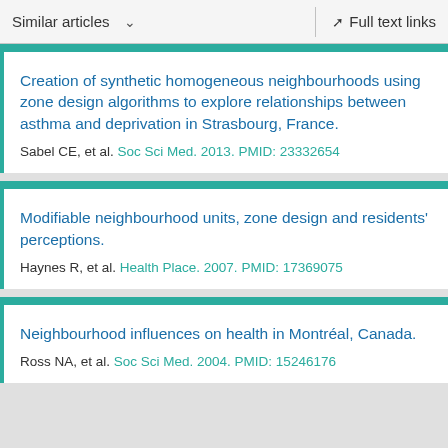Similar articles   Full text links
Creation of synthetic homogeneous neighbourhoods using zone design algorithms to explore relationships between asthma and deprivation in Strasbourg, France.
Sabel CE, et al. Soc Sci Med. 2013. PMID: 23332654
Modifiable neighbourhood units, zone design and residents' perceptions.
Haynes R, et al. Health Place. 2007. PMID: 17369075
Neighbourhood influences on health in Montréal, Canada.
Ross NA, et al. Soc Sci Med. 2004. PMID: 15246176